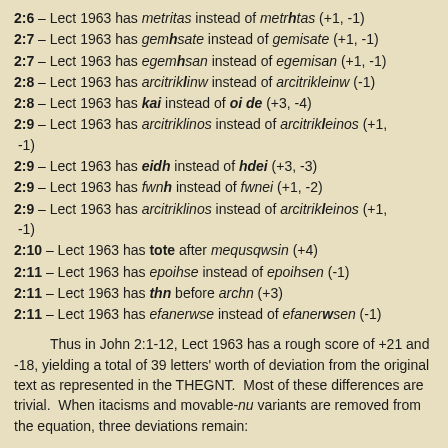2:6 – Lect 1963 has metritas instead of metrhtas (+1, -1)
2:7 – Lect 1963 has gemhsate instead of gemisate (+1, -1)
2:7 – Lect 1963 has egemhsan instead of egemisan (+1, -1)
2:8 – Lect 1963 has arcitriklinw instead of arcitrikleinw (-1)
2:8 – Lect 1963 has kai instead of oi de (+3, -4)
2:9 – Lect 1963 has arcitriklinos instead of arcitrikleinos (+1, -1)
2:9 – Lect 1963 has eidh instead of hdei (+3, -3)
2:9 – Lect 1963 has fwnh instead of fwnei (+1, -2)
2:9 – Lect 1963 has arcitriklinos instead of arcitrikleinos (+1, -1)
2:10 – Lect 1963 has tote after mequsqwsin (+4)
2:11 – Lect 1963 has epoihse instead of epoihsen (-1)
2:11 – Lect 1963 has thn before archn (+3)
2:11 – Lect 1963 has efanerwse instead of efanerwsen (-1)
Thus in John 2:1-12, Lect 1963 has a rough score of +21 and -18, yielding a total of 39 letters' worth of deviation from the original text as represented in the THEGNT. Most of these differences are trivial. When itacisms and movable-nu variants are removed from the equation, three deviations remain: